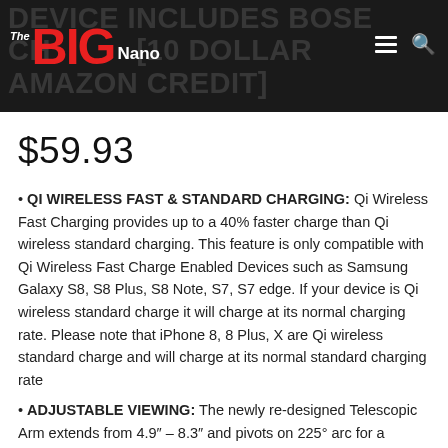DEVICE INCLUDES BOSE CHARGE [10 DOLLAR AMAZON CREDIT]
[Figure (logo): The BIG Nano logo with red BIG text on dark background, with hamburger menu and search icons]
$59.93
QI WIRELESS FAST & STANDARD CHARGING: Qi Wireless Fast Charging provides up to a 40% faster charge than Qi wireless standard charging. This feature is only compatible with Qi Wireless Fast Charge Enabled Devices such as Samsung Galaxy S8, S8 Plus, S8 Note, S7, S7 edge. If your device is Qi wireless standard charge it will charge at its normal charging rate. Please note that iPhone 8, 8 Plus, X are Qi wireless standard charge and will charge at its normal standard charging rate
ADJUSTABLE VIEWING: The newly re-designed Telescopic Arm extends from 4.9" – 8.3" and pivots on 225° arc for a variety of